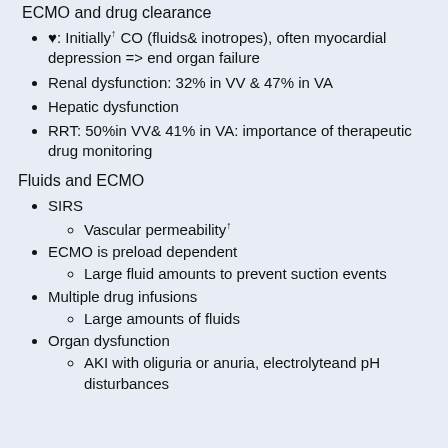ECMO and drug clearance
♥: Initially↑ CO (fluids& inotropes), often myocardial depression => end organ failure
Renal dysfunction: 32% in VV & 47% in VA
Hepatic dysfunction
RRT: 50%in VV& 41% in VA: importance of therapeutic drug monitoring
Fluids and ECMO
SIRS
Vascular permeability↑
ECMO is preload dependent
Large fluid amounts to prevent suction events
Multiple drug infusions
Large amounts of fluids
Organ dysfunction
AKI with oliguria or anuria, electrolyteand pH disturbances